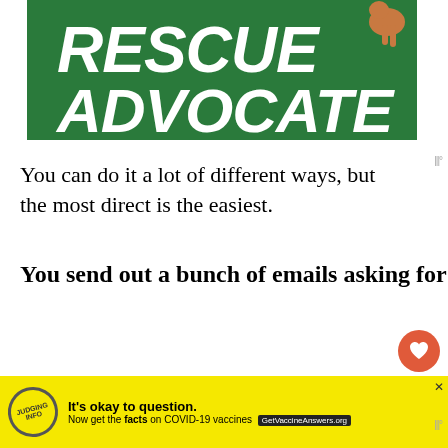[Figure (illustration): Green banner with bold white italic text reading 'RESCUE ADVOCATE' with a dog image in upper right corner]
You can do it a lot of different ways, but the most direct is the easiest.
You send out a bunch of emails asking for people to reply with their username and password.
Usually, you disguise this so that people don't
[Figure (screenshot): COVID-19 vaccine information advertisement banner with yellow background, stamp graphic, bold text 'It’s okay to question.' and 'Now get the facts on COVID-19 vaccines' with GetVaccineAnswers.org button]